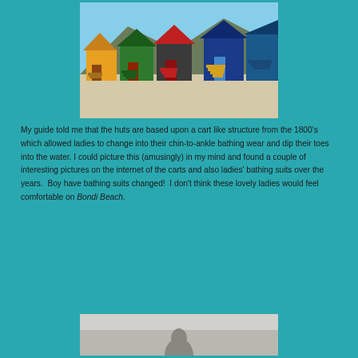[Figure (photo): Colorful beach huts (yellow, green, red, blue) on a sandy beach with a mountain in the background. The huts are elevated on wooden stilts with staircases.]
My guide told me that the huts are based upon a cart like structure from the 1800's which allowed ladies to change into their chin-to-ankle bathing wear and dip their toes into the water. I could picture this (amusingly) in my mind and found a couple of interesting pictures on the internet of the carts and also ladies' bathing suits over the years.  Boy have bathing suits changed!  I don't think these lovely ladies would feel comfortable on Bondi Beach.
[Figure (photo): Partially visible black and white or grey-toned photograph at the bottom of the page, content cut off.]